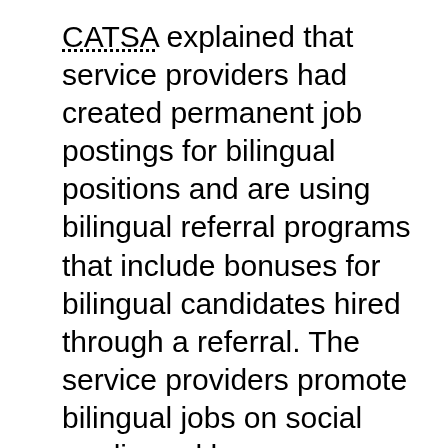CATSA explained that service providers had created permanent job postings for bilingual positions and are using bilingual referral programs that include bonuses for bilingual candidates hired through a referral. The service providers promote bilingual jobs on social media and have established partnerships with Francophone employment services organizations. They also use local job search bulletin boards to attract bilingual candidates. As noted in the audit report, in addition to recruiting campaigns, strategies are